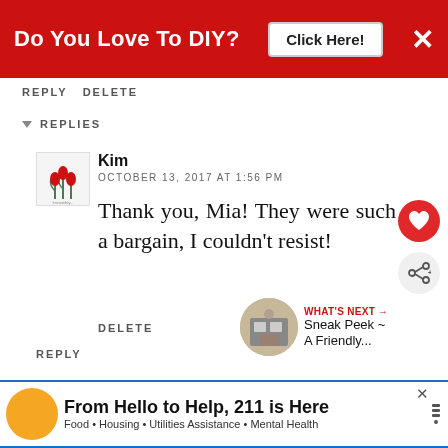[Figure (screenshot): Red banner ad: 'Do You Love To DIY?' with 'Click Here!' button and close X]
REPLY DELETE
REPLIES
Kim
OCTOBER 13, 2017 AT 1:56 PM
Thank you, Mia! They were such a bargain, I couldn't resist!
DELETE
REPLY
WHAT'S NEXT → Sneak Peek ~ A Friendly...
[Figure (screenshot): Ad banner: 'From Hello to Help, 211 is Here' with subtitle 'Food • Housing • Utilities Assistance • Mental Health']